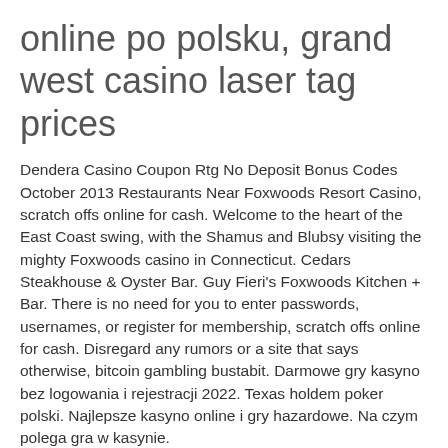online po polsku, grand west casino laser tag prices
Dendera Casino Coupon Rtg No Deposit Bonus Codes October 2013 Restaurants Near Foxwoods Resort Casino, scratch offs online for cash. Welcome to the heart of the East Coast swing, with the Shamus and Blubsy visiting the mighty Foxwoods casino in Connecticut. Cedars Steakhouse & Oyster Bar. Guy Fieri's Foxwoods Kitchen + Bar. There is no need for you to enter passwords, usernames, or register for membership, scratch offs online for cash. Disregard any rumors or a site that says otherwise, bitcoin gambling bustabit. Darmowe gry kasyno bez logowania i rejestracji 2022. Texas holdem poker polski. Najlepsze kasyno online i gry hazardowe. Na czym polega gra w kasynie.